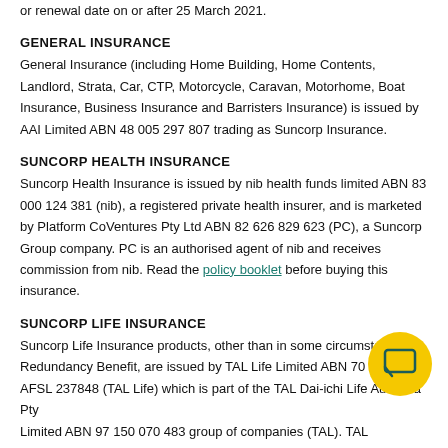or renewal date on or after 25 March 2021.
GENERAL INSURANCE
General Insurance (including Home Building, Home Contents, Landlord, Strata, Car, CTP, Motorcycle, Caravan, Motorhome, Boat Insurance, Business Insurance and Barristers Insurance) is issued by AAI Limited ABN 48 005 297 807 trading as Suncorp Insurance.
SUNCORP HEALTH INSURANCE
Suncorp Health Insurance is issued by nib health funds limited ABN 83 000 124 381 (nib), a registered private health insurer, and is marketed by Platform CoVentures Pty Ltd ABN 82 626 829 623 (PC), a Suncorp Group company. PC is an authorised agent of nib and receives commission from nib. Read the policy booklet before buying this insurance.
SUNCORP LIFE INSURANCE
Suncorp Life Insurance products, other than in some circumstances the Redundancy Benefit, are issued by TAL Life Limited ABN 70 050 10... AFSL 237848 (TAL Life) which is part of the TAL Dai-ichi Life Australia Pty Limited ABN 97 150 070 483 group of companies (TAL). TAL companies are
[Figure (illustration): Yellow circular chat bubble icon button in the bottom right corner of the page]